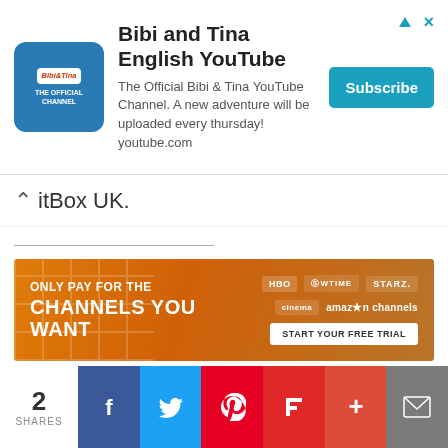[Figure (other): Advertisement banner for Bibi and Tina English YouTube channel with logo, description text, and Subscribe button]
itBox UK.
[Figure (other): Amazon Channels advertisement: ONLY PAY FOR THE CHANNELS YOU WANT - featuring HBO, SHOWTIME, STARZ, amazon channels logos and START YOUR FREE TRIAL button]
Outbound links on this page include non-affiliate links and affiliate links; the latter allows us to earn income from qualifying actions.
Share this post/page.
[Figure (other): Social sharing buttons bar showing partial colored buttons]
2 SHARES - Facebook, Twitter, Pinterest, Flipboard, Plus, Email social share buttons